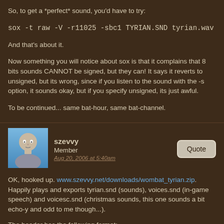So, to get a *perfect* sound, you'd have to try:
sox -t raw -V -r11025 -sbc1 TYRIAN.SND tyrian.wav
And that's about it.
Now something you will notice about sox is that it complains that 8 bits sounds CANNOT be signed, but they can! It says it reverts to unsigned, but its wrong, since if you listen to the sound with the -s option, it sounds okay, but if you specify unsigned, its just awful.
To be continued... same bat-hour, same bat-channel.
szevvy
Member
Aug 20, 2006 at 5:40am
OK, hooked up. www.szevvy.net/downloads/wombat_tyrian.zip. Happily plays and exports tyrian.snd (sounds), voices.snd (in-game speech) and voicesc.snd (christmas sounds, this one sounds a bit echo-y and odd to me though...).
The header has the following format: